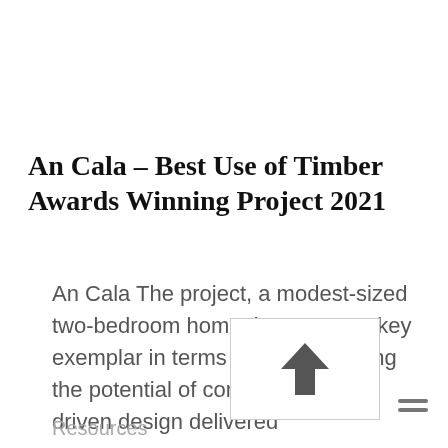An Cala – Best Use of Timber Awards Winning Project 2021
An Cala The project, a modest-sized two-bedroom home, is seen as a key exemplar in terms of demonstrating the potential of combining client-driven design delivered
Resources